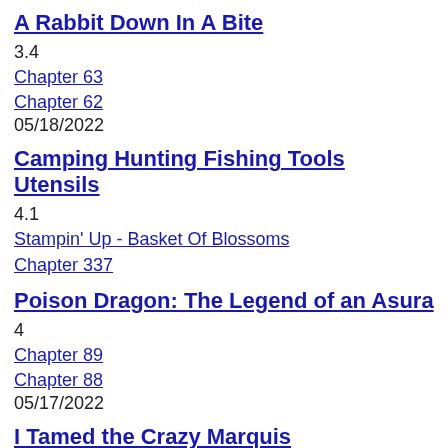A Rabbit Down In A Bite
3.4
Chapter 63
Chapter 62
05/18/2022
Camping Hunting Fishing Tools Utensils
4.1
Stampin' Up - Basket Of Blossoms
Chapter 337
Poison Dragon: The Legend of an Asura
4
Chapter 89
Chapter 88
05/17/2022
I Tamed the Crazy Marquis
4.7